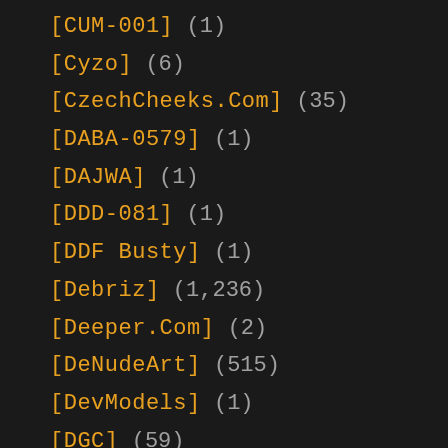[CUM-001] (1)
[Cyzo] (6)
[CzechCheeks.Com] (35)
[DABA-0579] (1)
[DAJWA] (1)
[DDD-081] (1)
[DDF Busty] (1)
[Debriz] (1,236)
[Deeper.Com] (2)
[DeNudeArt] (515)
[DevModels] (1)
[DGC] (59)
[DGFR-004] (1)
[DIAB-003] (1)
[Digi-Gra] (101)